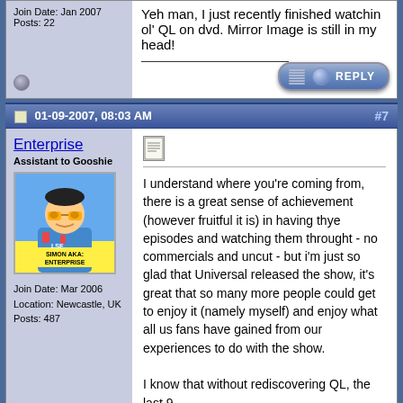Join Date: Jan 2007
Posts: 22
Yeh man, I just recently finished watchin ol' QL on dvd. Mirror Image is still in my head!
[Figure (screenshot): Reply button - blue pill-shaped button with ribbed texture and REPLY text]
01-09-2007, 08:03 AM  #7
Enterprise
Assistant to Gooshie
[Figure (illustration): Avatar of Simon aka Enterprise - cartoon character with sunglasses and Hawaiian shirt]
Join Date: Mar 2006
Location: Newcastle, UK
Posts: 487
[Figure (screenshot): Small document/post icon]
I understand where you're coming from, there is a great sense of achievement (however fruitful it is) in having thye episodes and watching them throught - no commercials and uncut - but i'm just so glad that Universal released the show, it's great that so many more people could get to enjoy it (namely myself) and enjoy what all us fans have gained from our experiences to do with the show.

I know that without rediscovering QL, the last 9